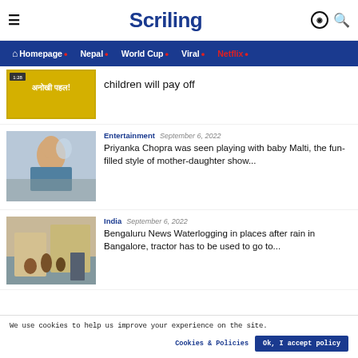Scriling
Homepage • Nepal • World Cup • Viral • Netflix •
children will pay off
[Figure (photo): Thumbnail image with Hindi text 'अनोखी पहल!']
[Figure (photo): Photo of a woman lifting a baby, Priyanka Chopra with baby Malti]
Entertainment   September 6, 2022
Priyanka Chopra was seen playing with baby Malti, the fun-filled style of mother-daughter show...
[Figure (photo): Photo of people in flood water in Bangalore]
India   September 6, 2022
Bengaluru News Waterlogging in places after rain in Bangalore, tractor has to be used to go to...
We use cookies to help us improve your experience on the site.
Cookies & Policies    Ok, I accept policy